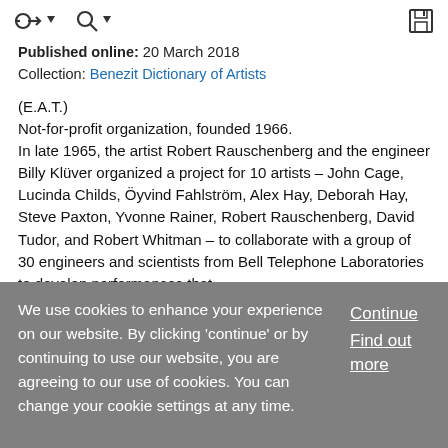Navigation toolbar with icons
Published online: 20 March 2018
Collection: Benezit Dictionary of Artists
(E.A.T.)
Not-for-profit organization, founded 1966.
In late 1965, the artist Robert Rauschenberg and the engineer Billy Klüver organized a project for 10 artists – John Cage, Lucinda Childs, Öyvind Fahlström, Alex Hay, Deborah Hay, Steve Paxton, Yvonne Rainer, Robert Rauschenberg, David Tudor, and Robert Whitman – to collaborate with a group of 30 engineers and scientists from Bell Telephone Laboratories to develop performances that
We use cookies to enhance your experience on our website. By clicking 'continue' or by continuing to use our website, you are agreeing to our use of cookies. You can change your cookie settings at any time.
Continue
Find out more